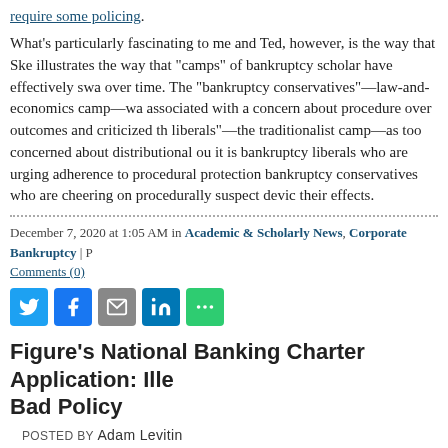require some policing.
What's particularly fascinating to me and Ted, however, is the way that Sk... illustrates the way that "camps" of bankruptcy scholar have effectively swa... over time. The "bankruptcy conservatives"—law-and-economics camp—w... associated with a concern about procedure over outcomes and criticized th... liberals"—the traditionalist camp—as too concerned about distributional ou... it is bankruptcy liberals who are urging adherence to procedural protection... bankruptcy conservatives who are cheering on procedurally suspect devic... their effects.
December 7, 2020 at 1:05 AM in Academic & Scholarly News, Corporate Bankruptcy | P... Comments (0)
[Figure (other): Social sharing icons: Twitter, Facebook, Email, LinkedIn, More Options]
Figure's National Banking Charter Application: Ille... Bad Policy
POSTED BY Adam Levitin
It's not every day that I write a letter in opposition to the issuance of a bank... that's what I just did. Here is my comment letter to the Office of the Comptr... Currency in opposition to the charter application for Figure, which is seekin... uninsured national bank. Not only is that not legally permitted, but issuing s... would be jaw-droppingly terrible policy from both a safety-and-soundness...